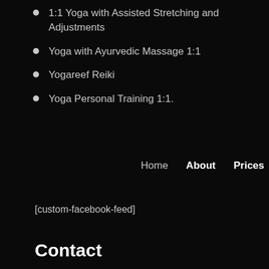1:1 Yoga with Assisted Stretching and Adjustments
Yoga with Ayurvedic Massage 1:1
Yogareef Reiki
Yoga Personal Training 1:1.
Home    About    Prices
[custom-facebook-feed]
Contact
Contact – Emma Darwish
Telephone – 07973 989 427
Email – emma@yogareef.com
facebook.com/yogareef
instagram.com/yogareef